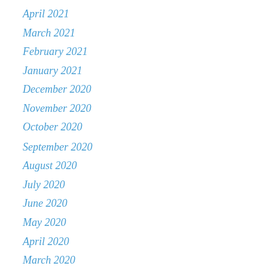April 2021
March 2021
February 2021
January 2021
December 2020
November 2020
October 2020
September 2020
August 2020
July 2020
June 2020
May 2020
April 2020
March 2020
February 2020
January 2020
December 2019
November 2019
October 2019
September 2019